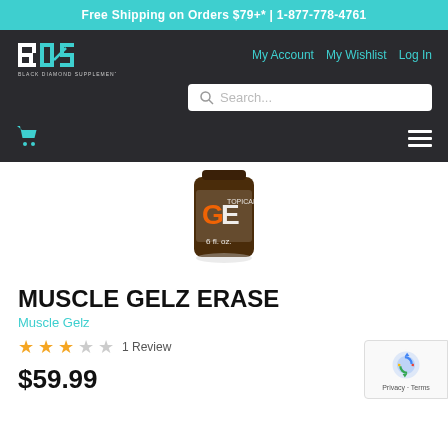Free Shipping on Orders $79+* | 1-877-778-4761
[Figure (logo): Black Diamond Supplements BDS logo in teal and white]
My Account  My Wishlist  Log In
Search...
[Figure (photo): Muscle Gelz Erase product bottle, 6 fl. oz., brown bottle with orange and white label]
MUSCLE GELZ ERASE
Muscle Gelz
1 Review
$59.99